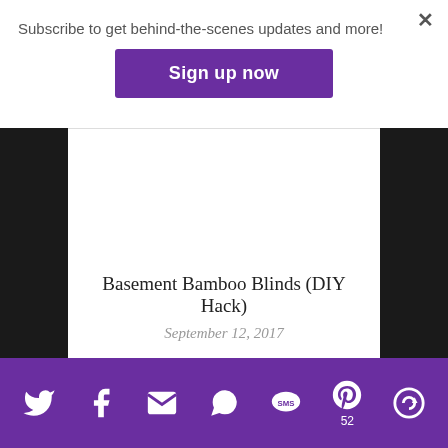Subscribe to get behind-the-scenes updates and more!
Sign up now
Basement Bamboo Blinds (DIY Hack)
September 12, 2017
[Figure (other): Purple social sharing bar with icons for Twitter, Facebook, Email, WhatsApp, SMS, Pinterest (52), and another share icon]